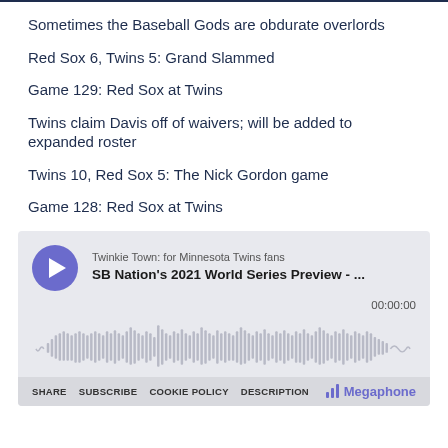Sometimes the Baseball Gods are obdurate overlords
Red Sox 6, Twins 5: Grand Slammed
Game 129: Red Sox at Twins
Twins claim Davis off of waivers; will be added to expanded roster
Twins 10, Red Sox 5: The Nick Gordon game
Game 128: Red Sox at Twins
[Figure (other): Podcast player widget for 'Twinkie Town: for Minnesota Twins fans' showing 'SB Nation's 2021 World Series Preview - ...' with play button, waveform, timestamp 00:00:00, and Megaphone branding. Footer has SHARE, SUBSCRIBE, COOKIE POLICY, DESCRIPTION links.]